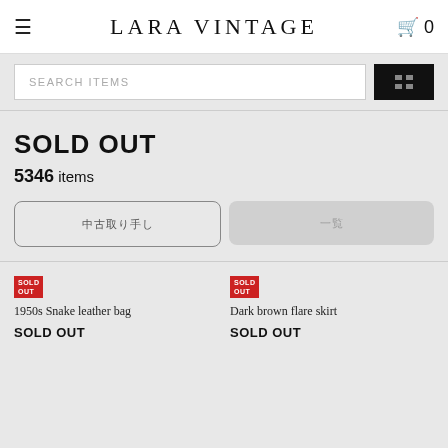LARA VINTAGE
SEARCH ITEMS
SOLD OUT
5346 items
1950s Snake leather bag
SOLD OUT
Dark brown flare skirt
SOLD OUT